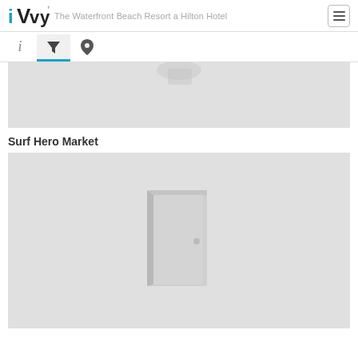iVvy — The Waterfront Beach Resort a Hilton Hotel
[Figure (screenshot): Navigation tab bar with info (i), filter (funnel icon active with blue underline), and location pin icons]
[Figure (screenshot): Top gray image placeholder with faint shape visible at top]
Surf Hero Market
[Figure (screenshot): Gray image placeholder with a door/entrance icon in the center]